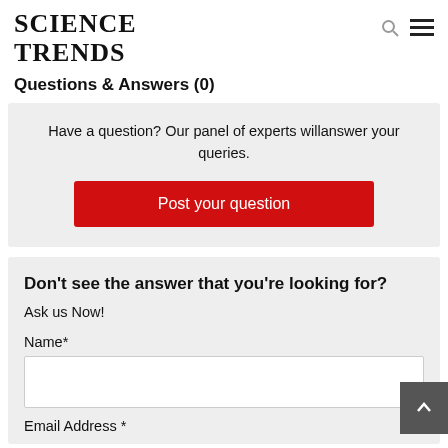SCIENCE TRENDS
Questions & Answers (0)
Have a question? Our panel of experts willanswer your queries.
Post your question
Don't see the answer that you're looking for?
Ask us Now!
Name*
Email Address *